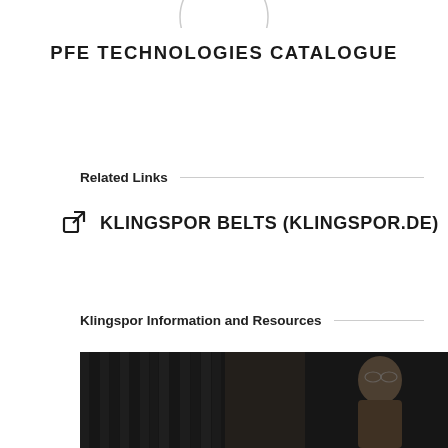[Figure (logo): Circular logo/badge at top center, partially cropped]
PFE TECHNOLOGIES CATALOGUE
Related Links
KLINGSPOR BELTS (KLINGSPOR.DE)
Klingspor Information and Resources
[Figure (photo): Dark photograph showing a person wearing safety glasses, industrial setting]